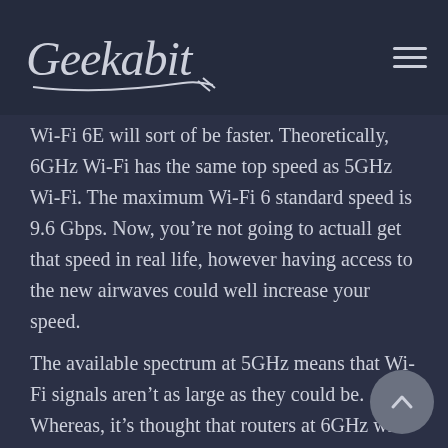Geekabit
Wi-Fi 6E will sort of be faster. Theoretically, 6GHz Wi-Fi has the same top speed as 5GHz Wi-Fi. The maximum Wi-Fi 6 standard speed is 9.6 Gbps. Now, you’re not going to actuall get that speed in real life, however having access to the new airwaves could well increase your speed.
The available spectrum at 5GHz means that Wi-Fi signals aren’t as large as they could be. Whereas, it’s thought that routers at 6GHz will broadcast at the current